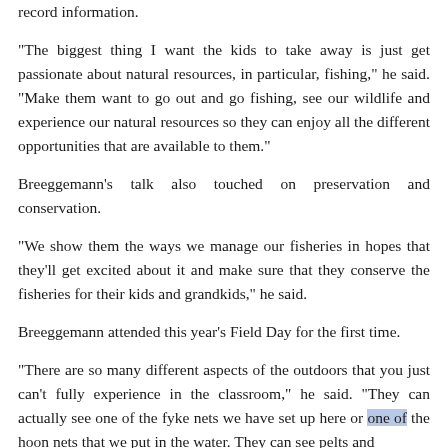record information.
“The biggest thing I want the kids to take away is just get passionate about natural resources, in particular, fishing,” he said. “Make them want to go out and go fishing, see our wildlife and experience our natural resources so they can enjoy all the different opportunities that are available to them.”
Breeggemann’s talk also touched on preservation and conservation.
“We show them the ways we manage our fisheries in hopes that they’ll get excited about it and make sure that they conserve the fisheries for their kids and grandkids,” he said.
Breeggemann attended this year’s Field Day for the first time.
“There are so many different aspects of the outdoors that you just can’t fully experience in the classroom,” he said. “They can actually see one of the fyke nets we have set up here or one of the hoon nets that we put in the water. They can see pelts and